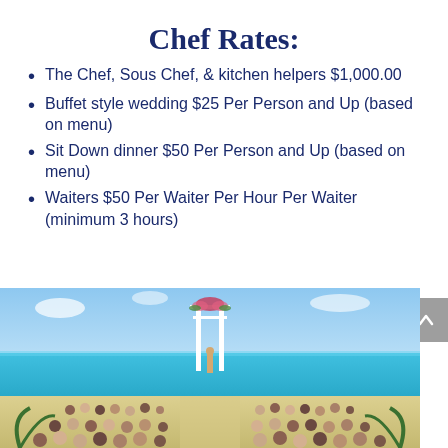Chef Rates:
The Chef, Sous Chef, & kitchen helpers $1,000.00
Buffet style wedding $25 Per Person and Up (based on menu)
Sit Down dinner $50 Per Person and Up (based on menu)
Waiters $50 Per Waiter Per Hour Per Waiter (minimum 3 hours)
[Figure (photo): Beach wedding ceremony with white arch decorated with flowers, guests seated on the sand facing the ocean under a blue sky.]